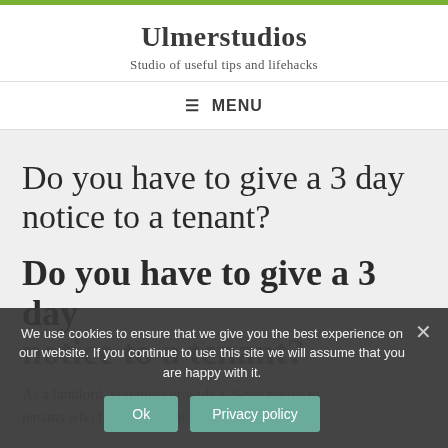Ulmerstudios
Studio of useful tips and lifehacks
≡ MENU
Do you have to give a 3 day notice to a tenant?
Do you have to give a 3 day notice to a tenant?
notice to a tenant?
As a landlord, you must provide a 3-day notice to tenants who fail to pay rent and a 7-day notice to
We use cookies to ensure that we give you the best experience on our website. If you continue to use this site we will assume that you are happy with it.